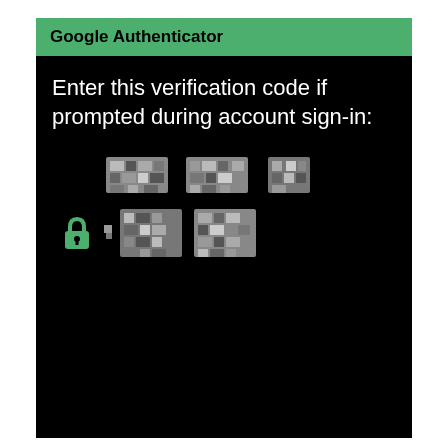Google Authenticator
Enter this verification code if prompted during account sign-in:
[Figure (screenshot): Pixelated/blurred verification code digits with a green lock icon, shown on a dark background in the Google Authenticator app]